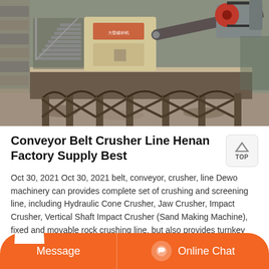[Figure (photo): Industrial crusher/conveyor belt machinery at a factory site, showing heavy equipment on a raised platform with metal structure supports, mountains/stone walls in background.]
Conveyor Belt Crusher Line Henan Factory Supply Best
Oct 30, 2021 Oct 30, 2021 belt, conveyor, crusher, line Dewo machinery can provides complete set of crushing and screening line, including Hydraulic Cone Crusher, Jaw Crusher, Impact Crusher, Vertical Shaft Impact Crusher (Sand Making Machine), fixed and movable rock crushing line, but also provides turnkey project for cement production line, ore ...